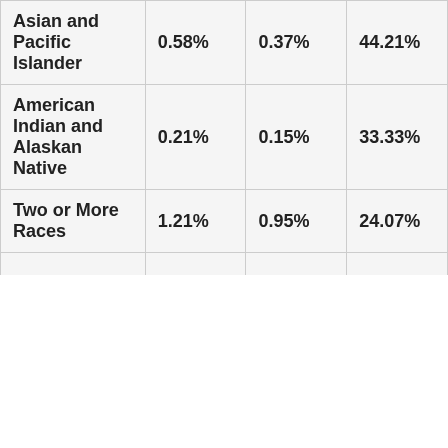| Asian and Pacific Islander | 0.58% | 0.37% | 44.21% |
| American Indian and Alaskan Native | 0.21% | 0.15% | 33.33% |
| Two or More Races | 1.21% | 0.95% | 24.07% |
|  |  |  |  |
Data Source(s)
All of the data on this page is sourced from